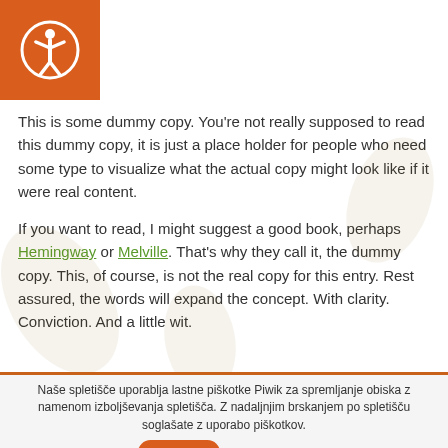[Figure (logo): Orange square with white accessibility icon (person in circle) in top-left corner]
This is some dummy copy. You're not really supposed to read this dummy copy, it is just a place holder for people who need some type to visualize what the actual copy might look like if it were real content.
If you want to read, I might suggest a good book, perhaps Hemingway or Melville. That's why they call it, the dummy copy. This, of course, is not the real copy for this entry. Rest assured, the words will expand the concept. With clarity. Conviction. And a little wit.
Naše spletišče uporablja lastne piškotke Piwik za spremljanje obiska z namenom izboljševanja spletišča. Z nadaljnjim brskanjem po spletišču soglašate z uporabo piškotkov.